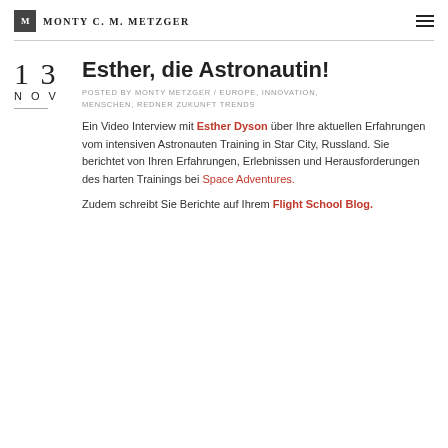Monty C. M. Metzger
Esther, die Astronautin!
POSTED BY MONTY METZGER / EUROPE, INNOVATION, MENSCHEN, REDNER ZUKUNFT TRENDS
Ein Video Interview mit Esther Dyson über Ihre aktuellen Erfahrungen vom intensiven Astronauten Training in Star City, Russland. Sie berichtet von Ihren Erfahrungen, Erlebnissen und Herausforderungen des harten Trainings bei Space Adventures.
Zudem schreibt Sie Berichte auf Ihrem Flight School Blog.